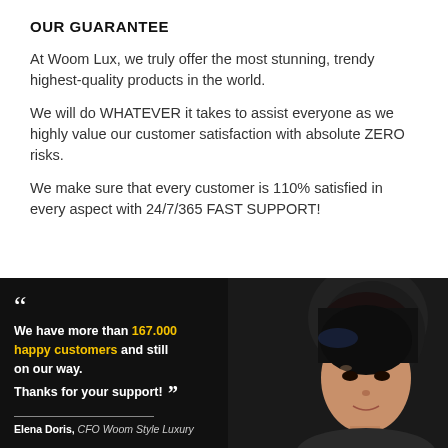OUR GUARANTEE
At Woom Lux, we truly offer the most stunning, trendy highest-quality products in the world.
We will do WHATEVER it takes to assist everyone as we highly value our customer satisfaction with absolute ZERO risks.
We make sure that every customer is 110% satisfied in every aspect with 24/7/365 FAST SUPPORT!
[Figure (photo): Dark background photo of a woman (Elena Doris, CFO Woom Style Luxury) with a quote overlay: 'We have more than 167.000 happy customers and still on our way. Thanks for your support!' Attribution line reads: Elena Doris, CFO Woom Style Luxury]